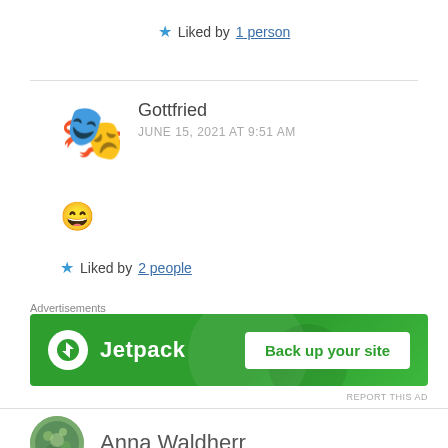★ Liked by 1 person
Gottfried
JUNE 15, 2021 AT 9:51 AM
😄
★ Liked by 2 people
Advertisements
[Figure (other): Jetpack advertisement banner with green background, Jetpack logo and 'Back up your site' button]
REPORT THIS AD
Anna Waldherr